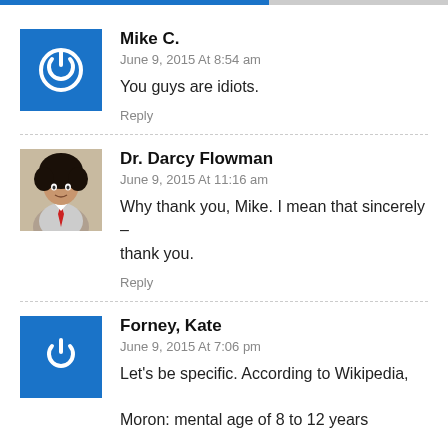Mike C.
June 9, 2015 At 8:54 am
You guys are idiots.
Reply
Dr. Darcy Flowman
June 9, 2015 At 11:16 am
Why thank you, Mike. I mean that sincerely – thank you.
Reply
Forney, Kate
June 9, 2015 At 7:06 pm
Let's be specific. According to Wikipedia,

Moron: mental age of 8 to 12 years